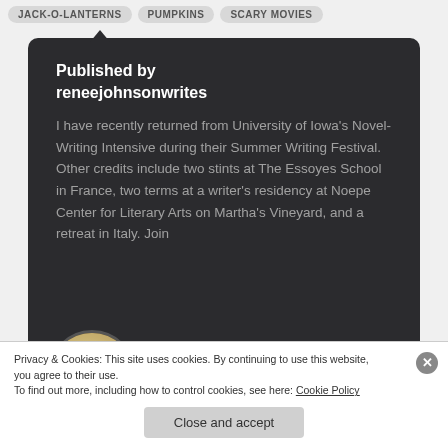JACK-O-LANTERNS   PUMPKINS   SCARY MOVIES
Published by reneejohnsonwrites
I have recently returned from University of Iowa's Novel-Writing Intensive during their Summer Writing Festival. Other credits include two stints at The Essoyes School in France, two terms at a writer's residency at Noepe Center for Literary Arts on Martha's Vineyard, and a retreat in Italy. Join
[Figure (photo): Circular avatar photo of a woman with blonde hair and dark sunglasses]
Privacy & Cookies: This site uses cookies. By continuing to use this website, you agree to their use.
To find out more, including how to control cookies, see here: Cookie Policy
Close and accept